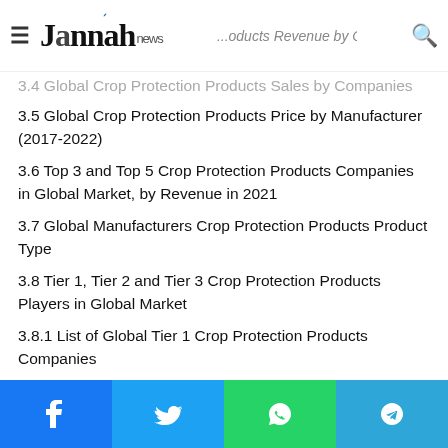Jannah news
3.4 Global Crop Protection Products Sales by Companies
3.5 Global Crop Protection Products Price by Manufacturer (2017-2022)
3.6 Top 3 and Top 5 Crop Protection Products Companies in Global Market, by Revenue in 2021
3.7 Global Manufacturers Crop Protection Products Product Type
3.8 Tier 1, Tier 2 and Tier 3 Crop Protection Products Players in Global Market
3.8.1 List of Global Tier 1 Crop Protection Products Companies
3.8.2 List of Global Tier 2 and Tier 3 Crop Protection Products Companies
4 S